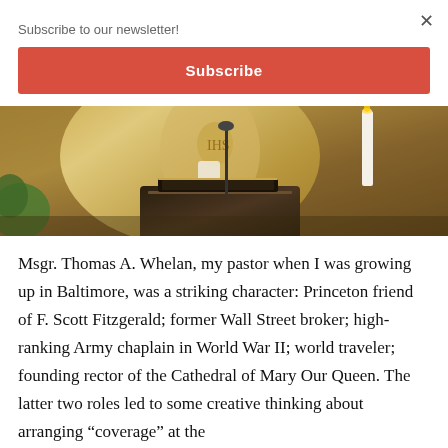Subscribe to our newsletter!
Subscribe
[Figure (photo): A priest or bishop in golden vestments standing at a dark lectern, with a white candle visible to the right and a green plant on the left.]
Msgr. Thomas A. Whelan, my pastor when I was growing up in Baltimore, was a striking character: Princeton friend of F. Scott Fitzgerald; former Wall Street broker; high-ranking Army chaplain in World War II; world traveler; founding rector of the Cathedral of Mary Our Queen. The latter two roles led to some creative thinking about arranging “coverage” at the